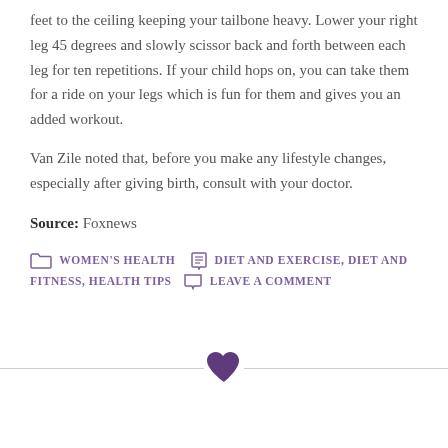feet to the ceiling keeping your tailbone heavy. Lower your right leg 45 degrees and slowly scissor back and forth between each leg for ten repetitions. If your child hops on, you can take them for a ride on your legs which is fun for them and gives you an added workout.
Van Zile noted that, before you make any lifestyle changes, especially after giving birth, consult with your doctor.
Source: Foxnews
WOMEN'S HEALTH  DIET AND EXERCISE, DIET AND FITNESS, HEALTH TIPS  LEAVE A COMMENT
[Figure (illustration): Purple heart icon centered on a horizontal divider line]